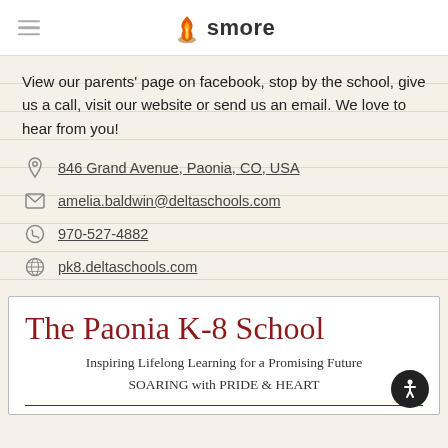smore
View our parents' page on facebook, stop by the school, give us a call, visit our website or send us an email. We love to hear from you!
846 Grand Avenue, Paonia, CO, USA
amelia.baldwin@deltaschools.com
970-527-4882
pk8.deltaschools.com
[Figure (logo): The Paonia K-8 School logo card with tagline: Inspiring Lifelong Learning for a Promising Future / SOARING with PRIDE & HEART]